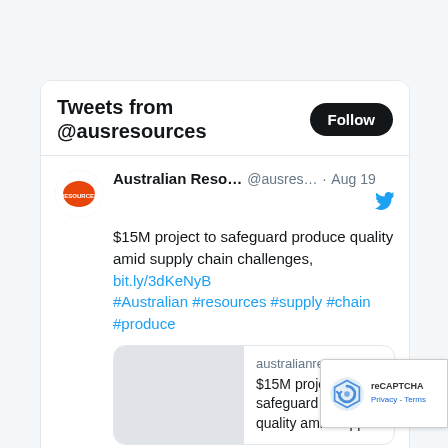Tweets from @ausresources
$15M project to safeguard produce quality amid supply chain challenges, bit.ly/3dKeNyB #Australian #resources #supply #chain #produce
[Figure (screenshot): Link preview card showing australianresources.com.au with text '$15M project to safeguard produce quality amid suppl...']
NASA to host media teleconference to discuss